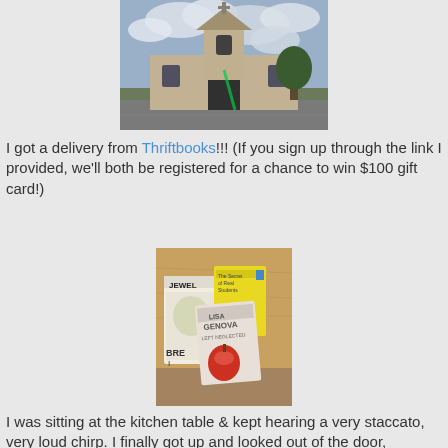[Figure (photo): Photograph of a church building with a bell tower against a partly cloudy sky, with a parking lot in the foreground and trees to the right.]
I got a delivery from Thriftbooks!!! (If you sign up through the link I provided, we'll both be registered for a chance to win $100 gift card!)
[Figure (photo): Photograph of several books on a wooden table surface, including books titled 'Jewel', 'Lisa Genova', and 'Bri', with visible book spines and covers.]
I was sitting at the kitchen table & kept hearing a very staccato, very loud chirp. I finally got up and looked out of the door, grabbed my camera, and